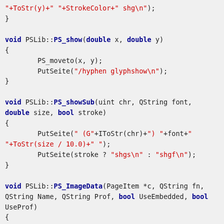Code snippet showing PSLib C++ methods: PS_show, PS_showSub, PS_ImageData with syntax highlighting
[Figure (screenshot): C++ source code with syntax highlighting showing three function definitions: PSLib::PS_show, PSLib::PS_showSub, and PSLib::PS_ImageData]